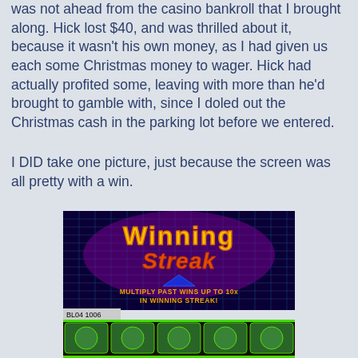was not ahead from the casino bankroll that I brought along. Hick lost $40, and was thrilled about it, because it wasn't his own money, as I had given us each some Christmas money to wager. Hick had actually profited some, leaving with more than he'd brought to gamble with, since I doled out the Christmas cash in the parking lot before we entered.
I DID take one picture, just because the screen was all pretty with a win.
[Figure (photo): A photograph of a slot machine screen showing 'Winning Streak' game with text 'MULTIPLY PAST WINS UP TO 10x IN WINNING STREAK!' and slot reel symbols below. Machine ID BL04 1006 visible.]